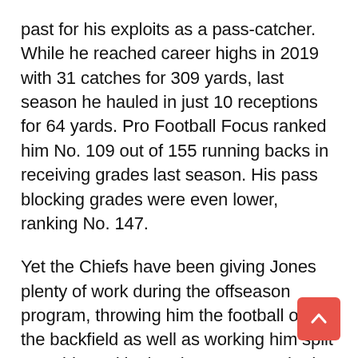past for his exploits as a pass-catcher. While he reached career highs in 2019 with 31 catches for 309 yards, last season he hauled in just 10 receptions for 64 yards. Pro Football Focus ranked him No. 109 out of 155 running backs in receiving grades last season. His pass blocking grades were even lower, ranking No. 147.
Yet the Chiefs have been giving Jones plenty of work during the offseason program, throwing him the football out of the backfield as well as working him split out wide and in the slot. Jones worked himself wide open during Wednesday's 7-on-7 period in hauling in a pass from Henne for a big gain.
“In order to get on the field, I’m going to have to do some of that work,” Jones said. “That would be co… too, I’m always down for that.”